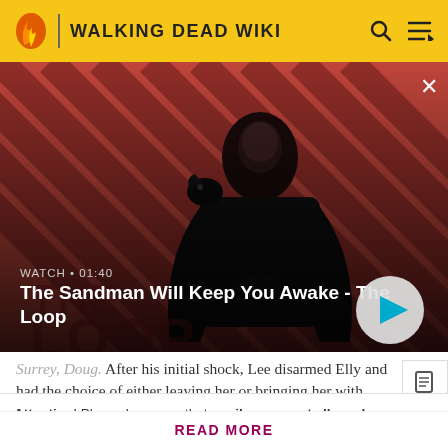WALKING DEAD WIKI
[Figure (screenshot): Video thumbnail showing a dark figure with a raven on shoulder against a red and dark diagonal striped background. Video title: The Sandman Will Keep You Awake - The Loop. Duration: 01:40. Play button visible.]
Surrey, Doug. After his initial shock, Lee disarmed Elly and had the choice of either leaving her or bringing her with
Attention! Please be aware that spoilers are not allowed on the wiki and a violation of this policy may result in a ban.
READ MORE